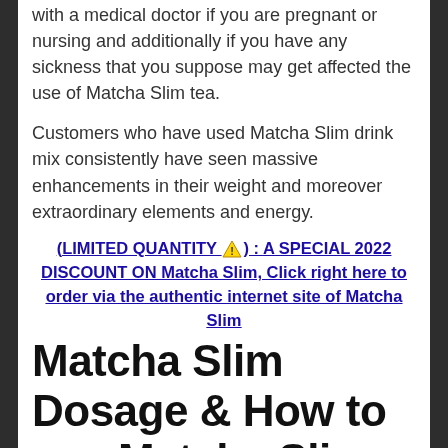with a medical doctor if you are pregnant or nursing and additionally if you have any sickness that you suppose may get affected the use of Matcha Slim tea.
Customers who have used Matcha Slim drink mix consistently have seen massive enhancements in their weight and moreover extraordinary elements and energy.
(LIMITED QUANTITY ⚠️) : A SPECIAL 2022 DISCOUNT ON Matcha Slim, Click right here to order via the authentic internet site of Matcha Slim
Matcha Slim Dosage & How to use Matcha Slim tea?